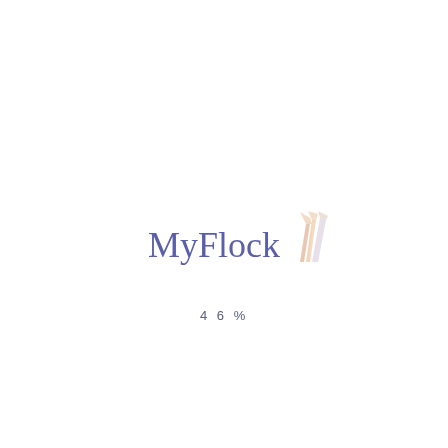[Figure (logo): MyFlock logo with stylized wheat/feather graphic in orange/peach tones next to blue-purple text]
46%